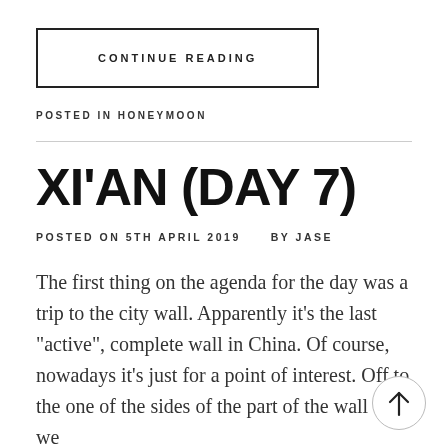CONTINUE READING
POSTED IN HONEYMOON
XI'AN (DAY 7)
POSTED ON 5TH APRIL 2019    BY JASE
The first thing on the agenda for the day was a trip to the city wall. Apparently it’s the last “active”, complete wall in China. Of course, nowadays it’s just for a point of interest. Off to the one of the sides of the part of the wall that we